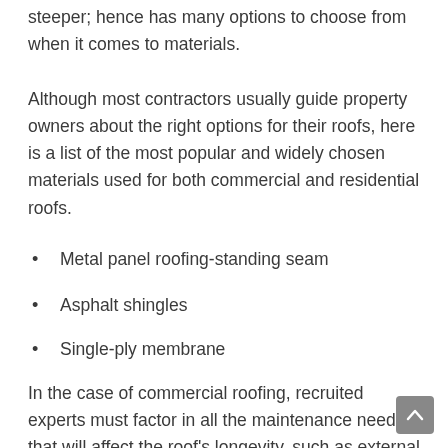steeper; hence has many options to choose from when it comes to materials.
Although most contractors usually guide property owners about the right options for their roofs, here is a list of the most popular and widely chosen materials used for both commercial and residential roofs.
Metal panel roofing-standing seam
Asphalt shingles
Single-ply membrane
In the case of commercial roofing, recruited experts must factor in all the maintenance needs that will affect the roof's longevity, such as external piping, airflow systems, etc. Making the right arrangements for ensuring effective maintenance of a commercial roof is essential;